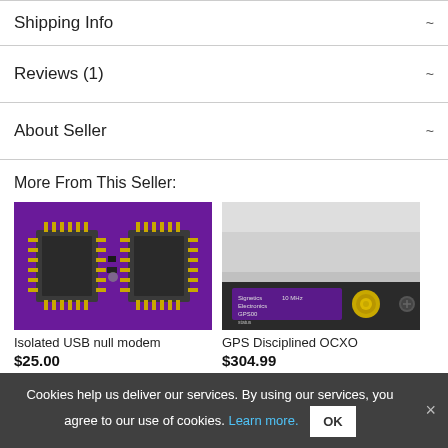Shipping Info
Reviews (1)
About Seller
More From This Seller:
[Figure (photo): Purple circuit board with two large IC chips and gold soldering points — Isolated USB null modem]
Isolated USB null modem
$25.00
[Figure (photo): Silver and black metal enclosure with a gold SMA connector and purple label reading Signetics Electronics GPS00 status 10 MHz — GPS Disciplined OCXO]
GPS Disciplined OCXO
$304.99
Cookies help us deliver our services. By using our services, you agree to our use of cookies. Learn more.